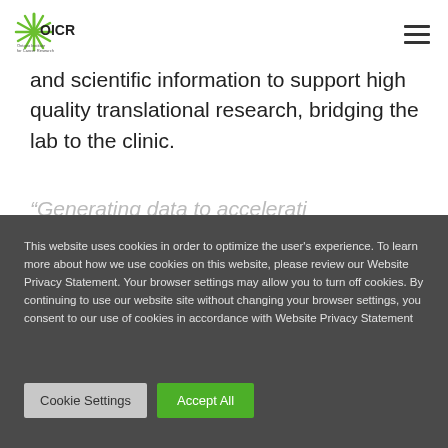[Figure (logo): OICR (Ontario Institute for Cancer Research) logo — green starburst/sunburst icon with OICR text]
and scientific information to support high quality translational research, bridging the lab to the clinic.
"Generating data to accelerati..." (partial, cut off)
This website uses cookies in order to optimize the user's experience. To learn more about how we use cookies on this website, please review our Website Privacy Statement. Your browser settings may allow you to turn off cookies. By continuing to use our website site without changing your browser settings, you consent to our use of cookies in accordance with Website Privacy Statement